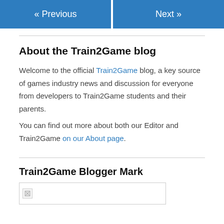« Previous   Next »
About the Train2Game blog
Welcome to the official Train2Game blog, a key source of games industry news and discussion for everyone from developers to Train2Game students and their parents.
You can find out more about both our Editor and Train2Game on our About page.
Train2Game Blogger Mark
[Figure (photo): Broken image placeholder for Train2Game Blogger Mark]